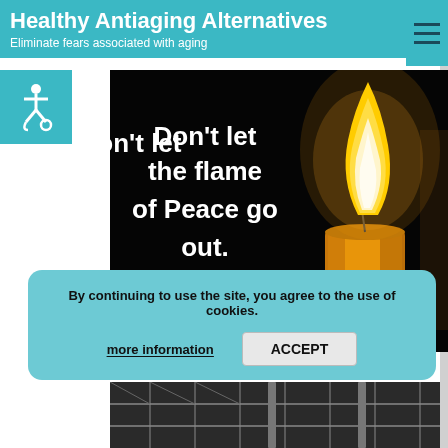Healthy Antiaging Alternatives
Eliminate fears associated with aging
[Figure (illustration): Dark background with a lit candle on the right side glowing orange/yellow, with white bold text on the left reading: Don't let the flame of Peace go out.]
By continuing to use the site, you agree to the use of cookies.
more information   ACCEPT
[Figure (photo): Partial view of what appears to be a solar panel or grid-like surface at the bottom of the page.]